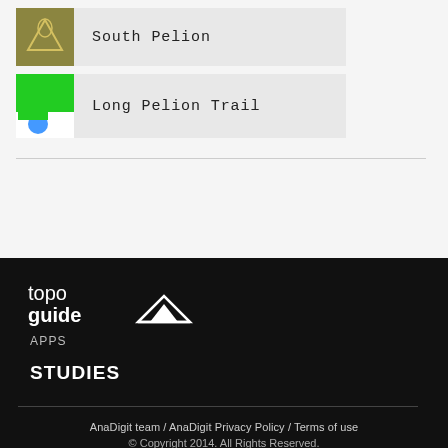South Pelion
Long Pelion Trail
[Figure (logo): Topo Guide Apps logo with mountain icon, white text on dark background]
APPS
STUDIES
AnaDigit team / AnaDigit Privacy Policy / Terms of use
© Copyright 2014. All Rights Reserved.